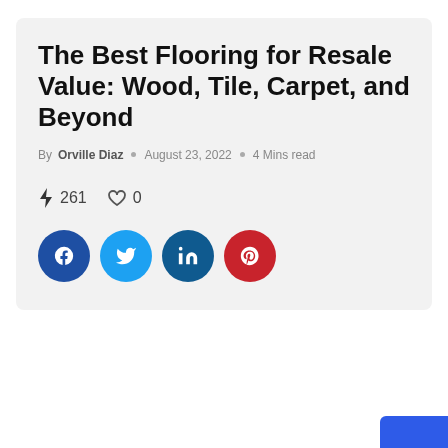The Best Flooring for Resale Value: Wood, Tile, Carpet, and Beyond
By Orville Diaz  ○  August 23, 2022  ○  4 Mins read
⚡ 261   ♡ 0
[Figure (infographic): Social share buttons: Facebook (blue circle with f), Twitter (light blue circle with bird), LinkedIn (dark blue circle with in), Pinterest (red circle with p)]